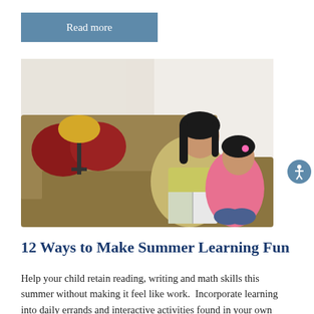Read more
[Figure (photo): A mother and young daughter sitting together on a brown sofa, reading a book. A gold lamp and red pillows are visible in the background.]
12 Ways to Make Summer Learning Fun
Help your child retain reading, writing and math skills this summer without making it feel like work.  Incorporate learning into daily errands and interactive activities found in your own